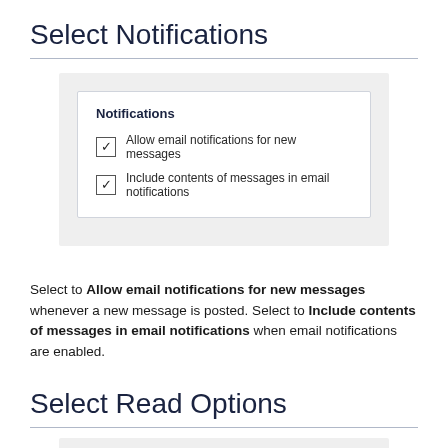Select Notifications
[Figure (screenshot): A UI panel labeled 'Notifications' with two checked checkboxes: 'Allow email notifications for new messages' and 'Include contents of messages in email notifications']
Select to Allow email notifications for new messages whenever a new message is posted. Select to Include contents of messages in email notifications when email notifications are enabled.
Select Read Options